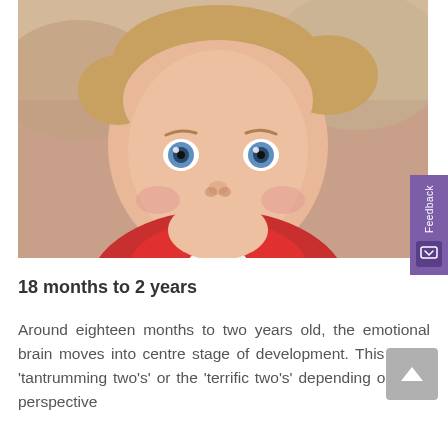[Figure (photo): Close-up photo of a smiling toddler with blue eyes and light brown hair, wearing a red outfit, looking up at the camera.]
18 months to 2 years
Around eighteen months to two years old, the emotional brain moves into centre stage of development. This is the 'tantrumming two's' or the 'terrific two's' depending on your perspective